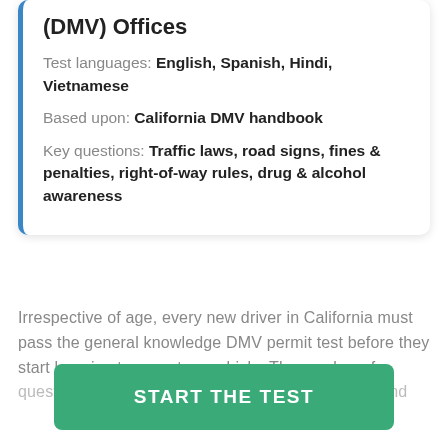(DMV) Offices
Test languages: English, Spanish, Hindi, Vietnamese
Based upon: California DMV handbook
Key questions: Traffic laws, road signs, fines & penalties, right-of-way rules, drug & alcohol awareness
Irrespective of age, every new driver in California must pass the general knowledge DMV permit test before they start learning to operate a vehicle. The number of questions on the driver permit test differs by state and
START THE TEST